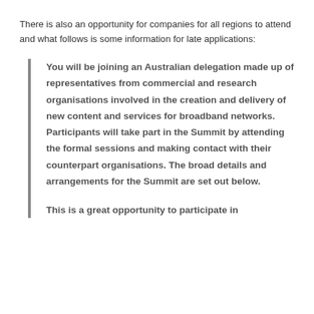There is also an opportunity for companies for all regions to attend and what follows is some information for late applications:
You will be joining an Australian delegation made up of representatives from commercial and research organisations involved in the creation and delivery of new content and services for broadband networks. Participants will take part in the Summit by attending the formal sessions and making contact with their counterpart organisations. The broad details and arrangements for the Summit are set out below.
This is a great opportunity to participate in